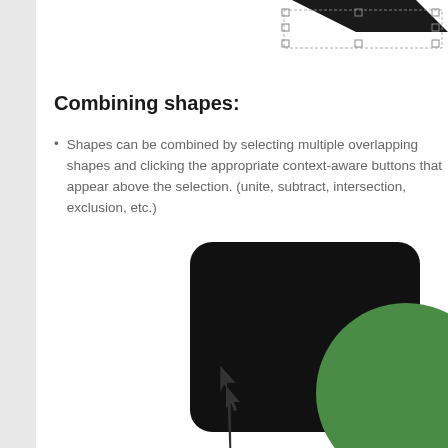[Figure (screenshot): Top portion of a shape editor UI showing a black trapezoid/arrow shape selected with resize handles (small squares) around it on a white canvas]
Combining shapes:
Shapes can be combined by selecting multiple overlapping shapes and clicking the appropriate context-aware buttons that appear above the selection. (unite, subtract, intersection, exclusion, etc.)
[Figure (screenshot): Screenshot of a shape editor canvas showing a black rounded rectangle overlapping with a green circle, with a cursor arrow visible]